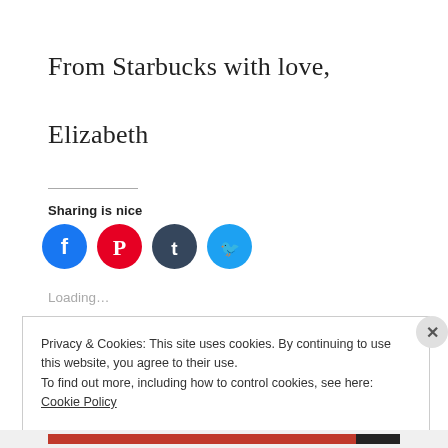From Starbucks with love,
Elizabeth
Sharing is nice
[Figure (infographic): Four social sharing icon buttons: Facebook (blue circle), Pinterest (red circle), Tumblr (dark blue circle), Twitter (light blue circle)]
Loading...
Privacy & Cookies: This site uses cookies. By continuing to use this website, you agree to their use.
To find out more, including how to control cookies, see here: Cookie Policy
Close and accept